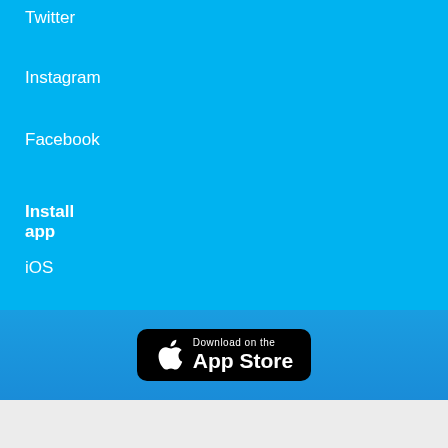Twitter
Instagram
Facebook
Install app
iOS
Android
Chrome extension
[Figure (logo): Download on the App Store badge — black rounded rectangle with Apple logo and text 'Download on the App Store']